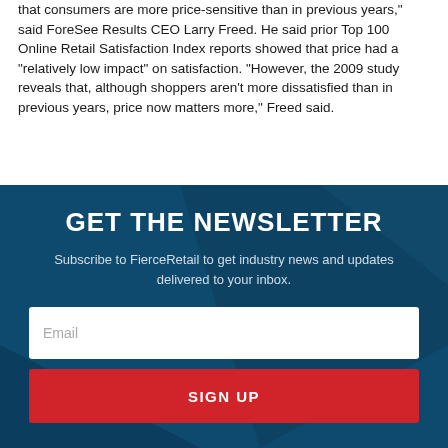that consumers are more price-sensitive than in previous years," said ForeSee Results CEO Larry Freed. He said prior Top 100 Online Retail Satisfaction Index reports showed that price had a "relatively low impact" on satisfaction. "However, the 2009 study reveals that, although shoppers aren't more dissatisfied than in previous years, price now matters more," Freed said.
GET THE NEWSLETTER
Subscribe to FierceRetail to get industry news and updates delivered to your inbox.
Email
SIGN UP